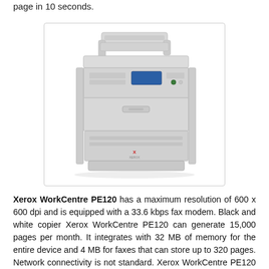page in 10 seconds.
[Figure (photo): Xerox WorkCentre PE120 multifunction printer/copier/fax machine, gray, shown in a product photo with document feeder on top and paper tray at bottom.]
Xerox WorkCentre PE120 has a maximum resolution of 600 x 600 dpi and is equipped with a 33.6 kbps fax modem. Black and white copier Xerox WorkCentre PE120 can generate 15,000 pages per month. It integrates with 32 MB of memory for the entire device and 4 MB for faxes that can store up to 320 pages. Network connectivity is not standard. Xerox WorkCentre PE120 mono laser printer with space saving design is perfect for offices with limited space. It is